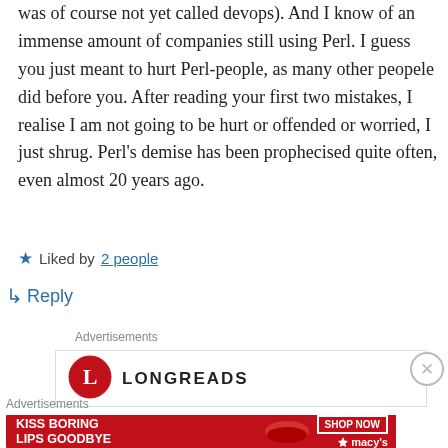was of course not yet called devops). And I know of an immense amount of companies still using Perl. I guess you just meant to hurt Perl-people, as many other peopele did before you. After reading your first two mistakes, I realise I am not going to be hurt or offended or worried, I just shrug. Perl's demise has been prophecised quite often, even almost 20 years ago.
★ Liked by 2 people
↳ Reply
Advertisements
[Figure (logo): LONGREADS logo with red circle L icon]
Advertisements
[Figure (photo): Macy's advertisement: KISS BORING LIPS GOODBYE with woman's face and red lips, SHOP NOW button and Macy's star logo]